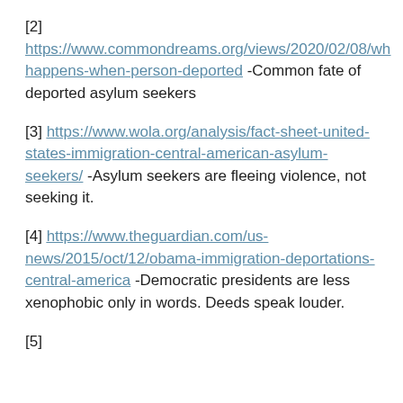[2] https://www.commondreams.org/views/2020/02/08/wh happens-when-person-deported -Common fate of deported asylum seekers
[3] https://www.wola.org/analysis/fact-sheet-united-states-immigration-central-american-asylum-seekers/ -Asylum seekers are fleeing violence, not seeking it.
[4] https://www.theguardian.com/us-news/2015/oct/12/obama-immigration-deportations-central-america -Democratic presidents are less xenophobic only in words. Deeds speak louder.
[5]